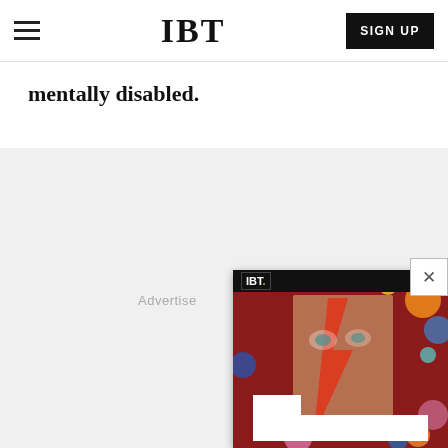IBT
mentally disabled.
[Figure (screenshot): IBT website screenshot showing navigation bar with hamburger menu, IBT logo, and SIGN UP button. Below is article text reading 'mentally disabled.' followed by a gray advertisement area with a video popup showing a David Bowie mosaic art image with IBT logo overlay and a white text bar, and a close (X) button.]
Advertise